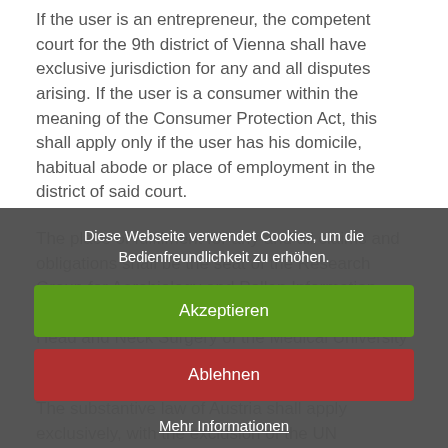If the user is an entrepreneur, the competent court for the 9th district of Vienna shall have exclusive jurisdiction for any and all disputes arising. If the user is a consumer within the meaning of the Consumer Protection Act, this shall apply only if the user has his domicile, habitual abode or place of employment in the district of said court.
The place of fulfilment for any and all claims and obligations shall be the seat of the Research Group for Aerobiology and Pollen Information, University Department for Otorhinolaryngolgy, Head and Neck Surgery of the Medical University of Vienna.
The substantive law of Austria shall apply exclusively, with the exclusion of the UN Convention on Contracts for the International Sale of Goods (CISG).
Diese Webseite verwendet Cookies, um die Bedienfreundlichkeit zu erhöhen.
Akzeptieren
Ablehnen
Mehr Informationen